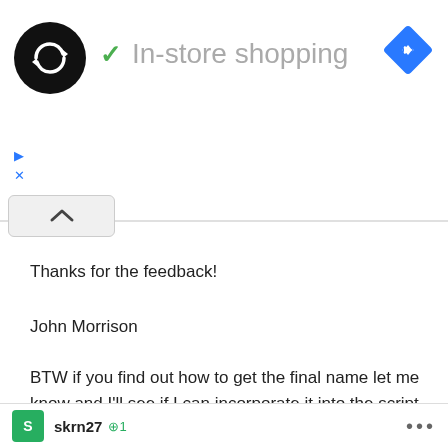[Figure (logo): Black circular logo with infinity-style double arrow symbol, followed by green checkmark and 'In-store shopping' text in gray, and a blue diamond navigation arrow icon on the right]
Thanks for the feedback!
John Morrison
BTW if you find out how to get the final name let me know and I'll see if I can incorporate it into the script.
This website uses cookies to ensure you get the best experience on our website. Learn more Got it!
a aka
skrn27 +1 ...